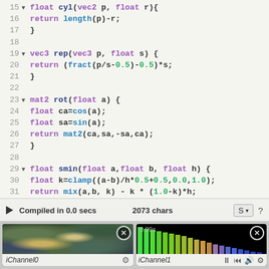[Figure (screenshot): Code editor showing GLSL shader code lines 15-32 with syntax highlighting. Purple keywords (float, vec3, mat2), dark blue function names (cyl, rep, rot, smin), blue built-ins (length, fract, cos, sin, mat2, clamp, mix), green numbers (0.5, 1.0, etc.).]
Compiled in 0.0 secs    2073 chars    S ▾    ?
[Figure (photo): Thumbnail of organic stone/pebble texture with green and teal tones on dark background. Labeled iChannel0.]
[Figure (bar-chart): Audio spectrum bar chart on black background with green-to-blue gradient bars. Timestamp 0.09s shown. Labeled iChannel1.]